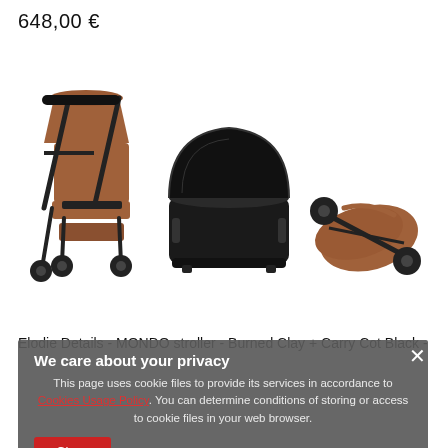648,00 €
[Figure (photo): Three views of Elodie Details MONDO stroller in Burned Clay color with black frame: full stroller assembled, black carry cot/bassinet attachment, and stroller folded compact]
Elodie Details - MONDO stroller - Burned Clay + Carry Cot Black -
We care about your privacy
This page uses cookie files to provide its services in accordance to Cookies Usage Policy. You can determine conditions of storing or access to cookie files in your web browser.
Close